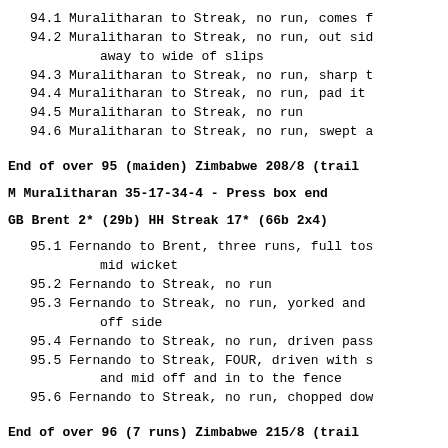94.1 Muralitharan to Streak, no run, comes f
94.2 Muralitharan to Streak, no run, out sid away to wide of slips
94.3 Muralitharan to Streak, no run, sharp t
94.4 Muralitharan to Streak, no run, pad it
94.5 Muralitharan to Streak, no run
94.6 Muralitharan to Streak, no run, swept a
End of over 95 (maiden) Zimbabwe 208/8 (trail
M Muralitharan 35-17-34-4 - Press box end
GB Brent 2* (29b) HH Streak 17* (66b 2x4)
95.1 Fernando to Brent, three runs, full tos mid wicket
95.2 Fernando to Streak, no run
95.3 Fernando to Streak, no run, yorked and off side
95.4 Fernando to Streak, no run, driven pass
95.5 Fernando to Streak, FOUR, driven with s and mid off and in to the fence
95.6 Fernando to Streak, no run, chopped dow
End of over 96 (7 runs) Zimbabwe 215/8 (trail
TCB Fernando 15-3-48-2 (1nb) - Tennis court en